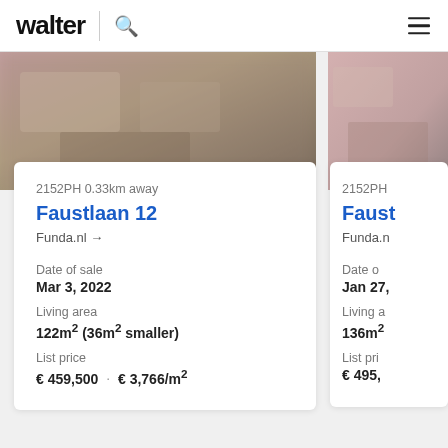walter
[Figure (photo): Blurred exterior photo of a property listing on the left side]
[Figure (photo): Blurred exterior photo of a second property listing on the right side (partially visible)]
2152PH 0.33km away
Faustlaan 12
Funda.nl →
Date of sale
Mar 3, 2022
Living area
122m² (36m² smaller)
List price
€ 459,500  ·  € 3,766/m²
2152PH
Faust
Funda.n
Date o
Jan 27,
Living a
136m²
List pri
€ 495,